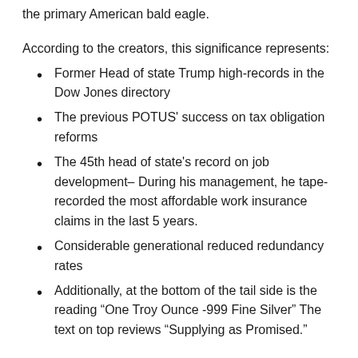the primary American bald eagle.
According to the creators, this significance represents:
Former Head of state Trump high-records in the Dow Jones directory
The previous POTUS' success on tax obligation reforms
The 45th head of state's record on job development– During his management, he tape-recorded the most affordable work insurance claims in the last 5 years.
Considerable generational reduced redundancy rates
Additionally, at the bottom of the tail side is the reading “One Troy Ounce -999 Fine Silver” The text on top reviews “Supplying as Promised.”
Features
It is an exceptional high quality coin with fine artistry and also